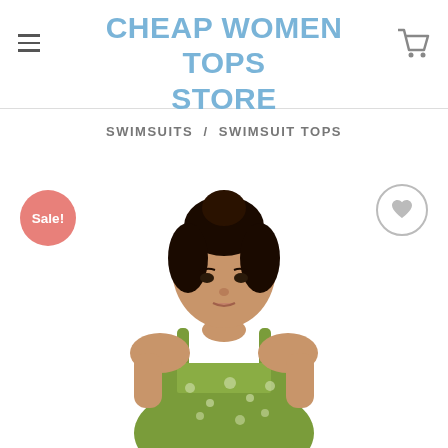CHEAP WOMEN TOPS STORE
SWIMSUITS / SWIMSUIT TOPS
[Figure (photo): A young woman with dark hair in a bun wearing a green floral/paisley print swimsuit top with thin straps, shown from the waist up against a white background. A pink 'Sale!' badge is in the top left and a heart/wishlist icon is in the top right.]